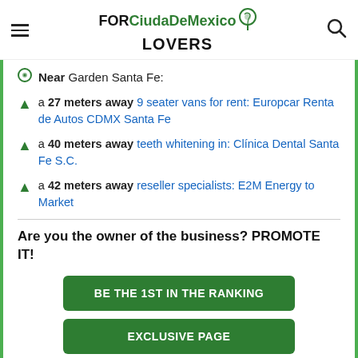FORCiudaDeMexico LOVERS
Near Garden Santa Fe:
a 27 meters away 9 seater vans for rent: Europcar Renta de Autos CDMX Santa Fe
a 40 meters away teeth whitening in: Clínica Dental Santa Fe S.C.
a 42 meters away reseller specialists: E2M Energy to Market
Are you the owner of the business? PROMOTE IT!
BE THE 1ST IN THE RANKING
EXCLUSIVE PAGE